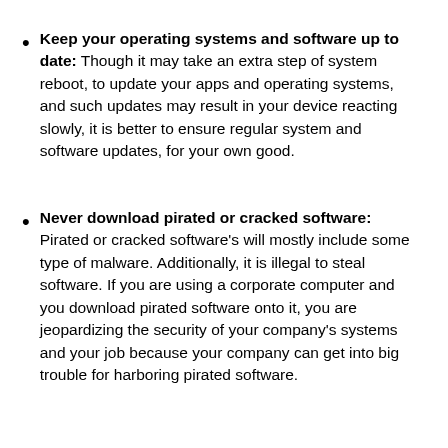Keep your operating systems and software up to date: Though it may take an extra step of system reboot, to update your apps and operating systems, and such updates may result in your device reacting slowly, it is better to ensure regular system and software updates, for your own good.
Never download pirated or cracked software: Pirated or cracked software's will mostly include some type of malware. Additionally, it is illegal to steal software. If you are using a corporate computer and you download pirated software onto it, you are jeopardizing the security of your company's systems and your job because your company can get into big trouble for harboring pirated software.